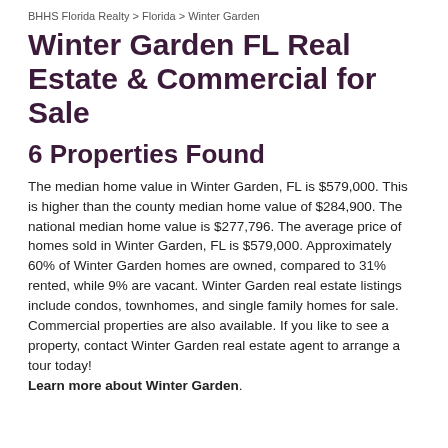BHHS Florida Realty > Florida > Winter Garden
Winter Garden FL Real Estate & Commercial for Sale
6 Properties Found
The median home value in Winter Garden, FL is $579,000. This is higher than the county median home value of $284,900. The national median home value is $277,796. The average price of homes sold in Winter Garden, FL is $579,000. Approximately 60% of Winter Garden homes are owned, compared to 31% rented, while 9% are vacant. Winter Garden real estate listings include condos, townhomes, and single family homes for sale. Commercial properties are also available. If you like to see a property, contact Winter Garden real estate agent to arrange a tour today! Learn more about Winter Garden.